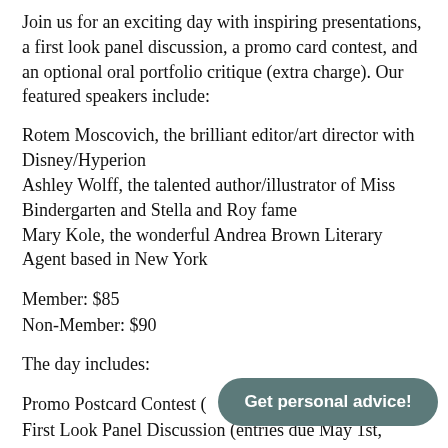Join us for an exciting day with inspiring presentations, a first look panel discussion, a promo card contest, and an optional oral portfolio critique (extra charge). Our featured speakers include:
Rotem Moscovich, the brilliant editor/art director with Disney/Hyperion
Ashley Wolff, the talented author/illustrator of Miss Bindergarten and Stella and Roy fame
Mary Kole, the wonderful Andrea Brown Literary Agent based in New York
Member: $85
Non-Member: $90
The day includes:
Promo Postcard Contest (
First Look Panel Discussion (entries due May 1st,
Post Media Direction...